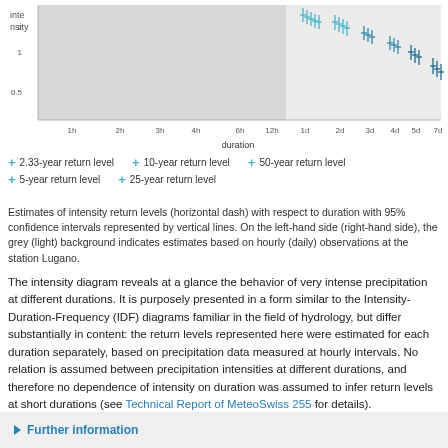[Figure (continuous-plot): Intensity return level diagram showing estimates with 95% confidence intervals (vertical lines) and horizontal dashes for return levels across durations from 1h to 7d. Left side (grey background) shows hourly observations; right side (light background) shows daily observations at station Lugano. Multiple return levels (2.33, 5, 10, 25, 50-year) shown as cyan/blue cross markers decreasing from left to right.]
2.33-year return level   10-year return level   50-year return level
5-year return level   25-year return level
Estimates of intensity return levels (horizontal dash) with respect to duration with 95% confidence intervals represented by vertical lines. On the left-hand side (right-hand side), the grey (light) background indicates estimates based on hourly (daily) observations at the station Lugano.
The intensity diagram reveals at a glance the behavior of very intense precipitation at different durations. It is purposely presented in a form similar to the Intensity-Duration-Frequency (IDF) diagrams familiar in the field of hydrology, but differ substantially in content: the return levels represented here were estimated for each duration separately, based on precipitation data measured at hourly intervals. No relation is assumed between precipitation intensities at different durations, and therefore no dependence of intensity on duration was assumed to infer return levels at short durations (see Technical Report of MeteoSwiss 255 for details).
▶ Further information